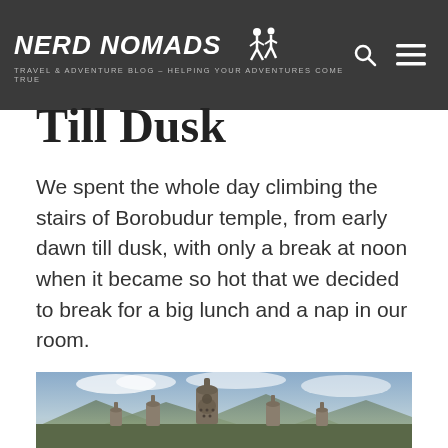NERD NOMADS — TRAVEL & ADVENTURE BLOG – HELPING YOUR ADVENTURES COME TRUE
Till Dusk
We spent the whole day climbing the stairs of Borobudur temple, from early dawn till dusk, with only a break at noon when it became so hot that we decided to break for a big lunch and a nap in our room.
[Figure (photo): Photo of Borobudur temple stupas with Buddha statue in foreground, mountains and cloudy sky in background, taken at dusk/dawn.]